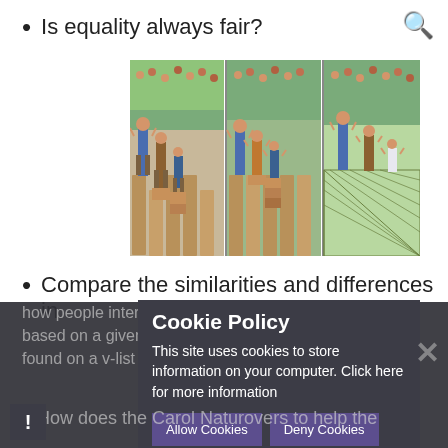Is equality always fair?
[Figure (illustration): Three-panel illustration showing three children of different heights watching a baseball game over a fence. Left panel: each child stands on one same-sized box. Middle panel: boxes redistributed by height. Right panel: taller fence replaced by chain-link fence allowing all to see.]
Compare the similarities and differences in
how people interpret human behaviour
based on a given due in life. This can b
found on a v-list due in life...
Cookie Policy
This site uses cookies to store information on your computer. Click here for more information
Allow Cookies
Deny Cookies
How does the Carol Naturovers to help the